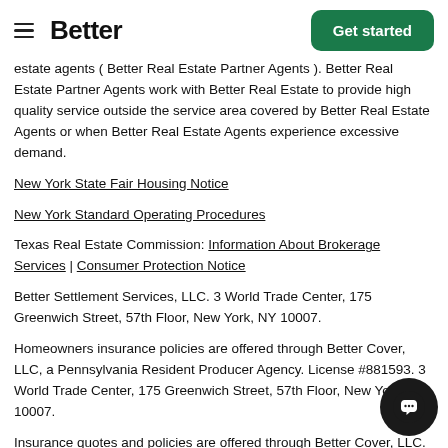Better | Get started
estate agents ( Better Real Estate Partner Agents ). Better Real Estate Partner Agents work with Better Real Estate to provide high quality service outside the service area covered by Better Real Estate Agents or when Better Real Estate Agents experience excessive demand.
New York State Fair Housing Notice
New York Standard Operating Procedures
Texas Real Estate Commission: Information About Brokerage Services | Consumer Protection Notice
Better Settlement Services, LLC. 3 World Trade Center, 175 Greenwich Street, 57th Floor, New York, NY 10007.
Homeowners insurance policies are offered through Better Cover, LLC, a Pennsylvania Resident Producer Agency. License #881593. 3 World Trade Center, 175 Greenwich Street, 57th Floor, New York, NY 10007.
Insurance quotes and policies are offered through Better Cover, LLC. A Pennsylvania Resident Producer Agency. License #881593. A full listing of Better Cover, LLC's license numbers may be found here.
Better Mortgage Corporation, Better Real Estate, LLC, Better Settlement Services, LLC and Better Cover, LLC are separate operating subsidiaries of Better Holdco, Inc. Each company is a separate legal entity operated and